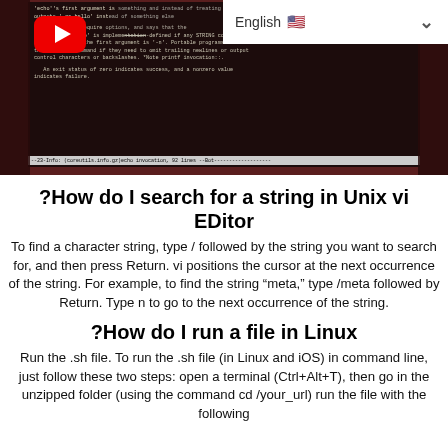[Figure (screenshot): Terminal/vi editor screenshot on Ubuntu showing echo command documentation and man page text, with a YouTube play button overlay on the left and an English language selector bar on the top right]
?How do I search for a string in Unix vi EDitor
To find a character string, type / followed by the string you want to search for, and then press Return. vi positions the cursor at the next occurrence of the string. For example, to find the string “meta,” type /meta followed by Return. Type n to go to the next occurrence of the string.
?How do I run a file in Linux
Run the .sh file. To run the .sh file (in Linux and iOS) in command line, just follow these two steps: open a terminal (Ctrl+Alt+T), then go in the unzipped folder (using the command cd /your_url) run the file with the following